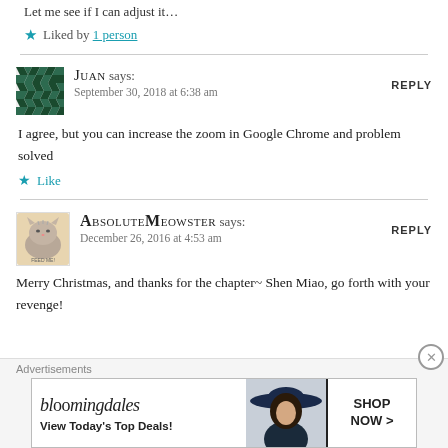Let me see if I can adjust it…
★ Liked by 1 person
Juan says: September 30, 2018 at 6:38 am — REPLY
I agree, but you can increase the zoom in Google Chrome and problem solved
★ Like
AbsoluteMeowster says: December 26, 2016 at 4:53 am — REPLY
Merry Christmas, and thanks for the chapter~ Shen Miao, go forth with your revenge!
Advertisements
[Figure (other): Bloomingdale's advertisement banner: 'View Today's Top Deals!' with SHOP NOW > button and woman in hat photo]